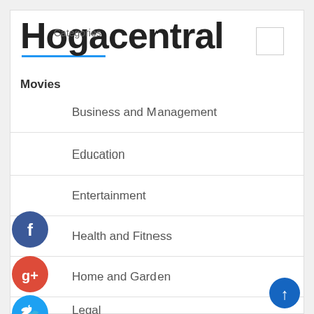Hogacentral
Categories
Movies
Business and Management
Education
Entertainment
Health and Fitness
Home and Garden
Legal
Main